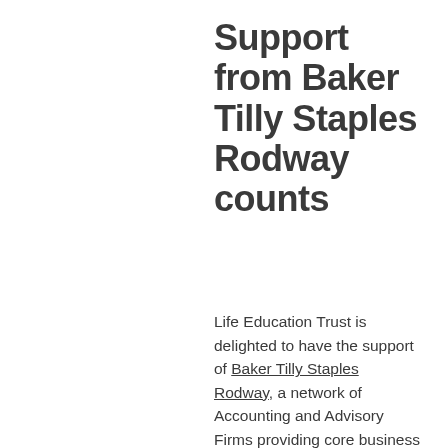Support from Baker Tilly Staples Rodway counts
Life Education Trust is delighted to have the support of Baker Tilly Staples Rodway, a network of Accounting and Advisory Firms providing core business advice services to Kiwi